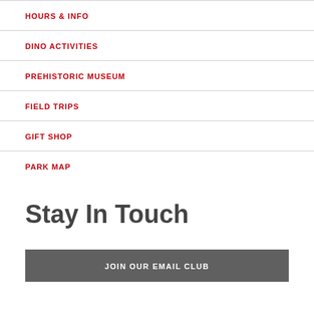HOURS & INFO
DINO ACTIVITIES
PREHISTORIC MUSEUM
FIELD TRIPS
GIFT SHOP
PARK MAP
Stay In Touch
JOIN OUR EMAIL CLUB